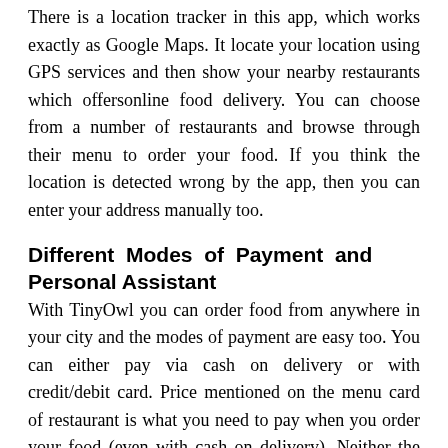There is a location tracker in this app, which works exactly as Google Maps. It locate your location using GPS services and then show your nearby restaurants which offersonline food delivery. You can choose from a number of restaurants and browse through their menu to order your food. If you think the location is detected wrong by the app, then you can enter your address manually too.
Different Modes of Payment and Personal Assistant
With TinyOwl you can order food from anywhere in your city and the modes of payment are easy too. You can either pay via cash on delivery or with credit/debit card. Price mentioned on the menu card of restaurant is what you need to pay when you order your food (even with cash on delivery). Neither the restaurants nor TinyOwl ask you to pay any other extra charges. Home delivery is